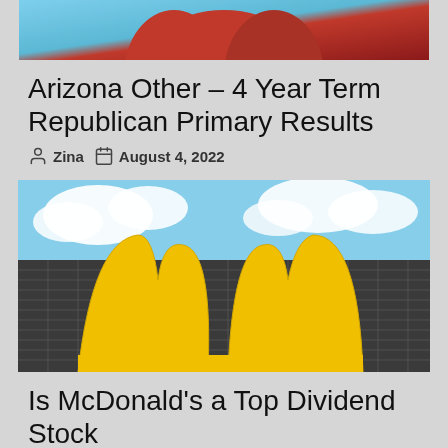[Figure (photo): Partial image at top, red and blue background, appears to be a person in red clothing]
Arizona Other – 4 Year Term Republican Primary Results
Zina   August 4, 2022
[Figure (photo): McDonald's golden arches logo photographed from below against a cloudy sky]
Is McDonald's a Top Dividend Stock